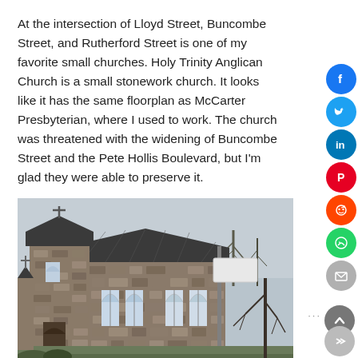At the intersection of Lloyd Street, Buncombe Street, and Rutherford Street is one of my favorite small churches. Holy Trinity Anglican Church is a small stonework church. It looks like it has the same floorplan as McCarter Presbyterian, where I used to work. The church was threatened with the widening of Buncombe Street and the Pete Hollis Boulevard, but I'm glad they were able to preserve it.
[Figure (photo): Exterior photograph of Holy Trinity Anglican Church, a small stone church building with Gothic-style arched windows, slate roof, and a cross on the tower. Bare trees visible in the background, a street sign pole in the foreground. The church sign is visible near the entrance.]